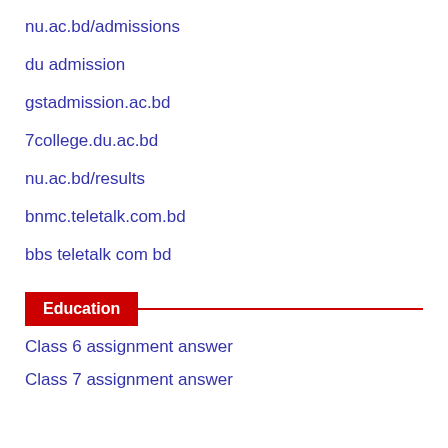nu.ac.bd/admissions
du admission
gstadmission.ac.bd
7college.du.ac.bd
nu.ac.bd/results
bnmc.teletalk.com.bd
bbs teletalk com bd
Education
Class 6 assignment answer
Class 7 assignment answer